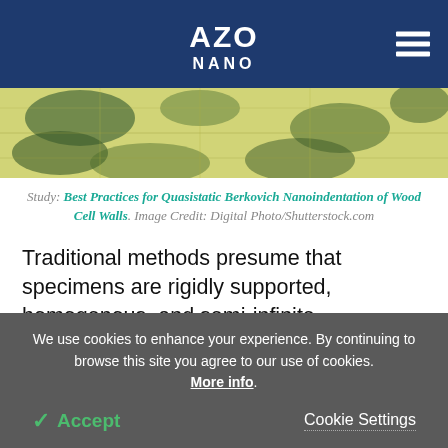AZO NANO
[Figure (photo): Microscope image of wood cell walls showing green and yellow fibrous structures]
Study: Best Practices for Quasistatic Berkovich Nanoindentation of Wood Cell Walls. Image Credit: Digital Photo/Shutterstock.com
Traditional methods presume that specimens are rigidly supported, homogenous, and semi-infinite.
We use cookies to enhance your experience. By continuing to browse this site you agree to our use of cookies. More info.
✓ Accept    Cookie Settings